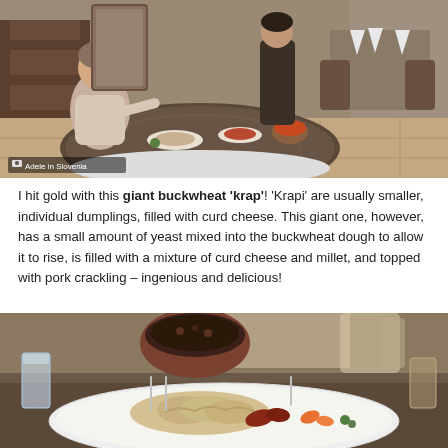[Figure (photo): Restaurant interior scene showing a woman seated at a round table with a dark patterned tablecloth and white underskirt, with food dishes on the table and a waiter standing behind. Other empty tables with white napkins visible in the background. Caption reads 'Adele in Slovenia'.]
Adele in Slovenia
I hit gold with this giant buckwheat 'krap'! 'Krapi' are usually smaller, individual dumplings, filled with curd cheese. This giant one, however, has a small amount of yeast mixed into the buckwheat dough to allow it to rise, is filled with a mixture of curd cheese and millet, and topped with pork crackling – ingenious and delicious!
[Figure (photo): Close-up photo of a restaurant table showing a white oval plate with dumplings (krap) and garnishes in the foreground, a brown ceramic bowl with dark stew in the background, a glass of water on the left, and another glass on the right.]